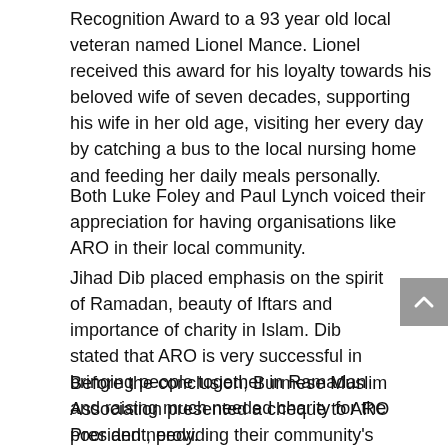Recognition Award to a 93 year old local veteran named Lionel Mance. Lionel received this award for his loyalty towards his beloved wife of seven decades, supporting his wife in her old age, visiting her every day by catching a bus to the local nursing home and feeding her daily meals personally.
Both Luke Foley and Paul Lynch voiced their appreciation for having organisations like ARO in their local community.
Jihad Dib placed emphasis on the spirit of Ramadan, beauty of Iftars and importance of charity in Islam. Dib stated that ARO is very successful in bringing people together in Ramadan and raising much needed charity for the poor and needy.
Before the conclusion, Burmese Muslim Association presented a cheque to ARO President, providing their community's support to Nepal Earthquake victims.